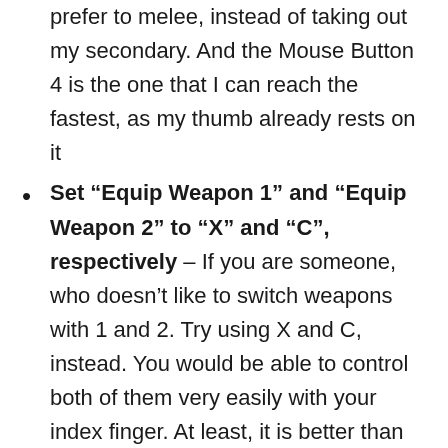prefer to melee, instead of taking out my secondary. And the Mouse Button 4 is the one that I can reach the fastest, as my thumb already rests on it
Set “Equip Weapon 1” and “Equip Weapon 2” to “X” and “C”, respectively – If you are someone, who doesn’t like to switch weapons with 1 and 2. Try using X and C, instead. You would be able to control both of them very easily with your index finger. At least, it is better than changing weapons with Scroll Wheel
Bind “V” to “Equip Survival Item” – I personally feel the positioning of the left